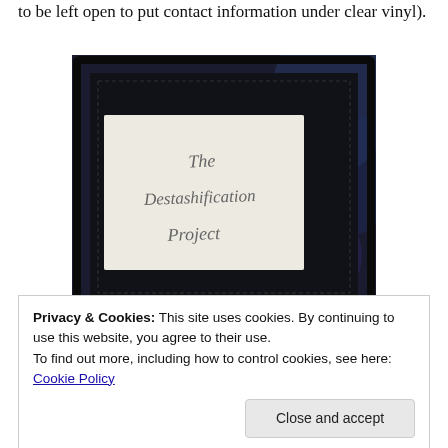to be left open to put contact information under clear vinyl).
[Figure (photo): A framed piece showing handwritten text on fabric reading 'The Destashification Project', set in a dark black frame with decorative blue marbled fabric visible around the edges.]
Privacy & Cookies: This site uses cookies. By continuing to use this website, you agree to their use.
To find out more, including how to control cookies, see here: Cookie Policy
Add a grommet to the short angled end (a paper hole